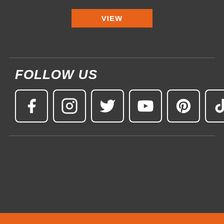VIEW
FOLLOW US
[Figure (infographic): Six social media icon buttons in white-bordered rounded square boxes on dark background: Facebook, Instagram, Twitter, YouTube, Pinterest, TikTok]